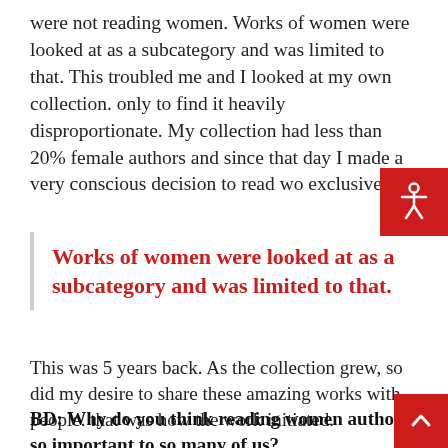were not reading women. Works of women were looked at as a subcategory and was limited to that. This troubled me and I looked at my own collection. only to find it heavily disproportionate. My collection had less than 20% female authors and since that day I made a very conscious decision to read wo exclusively.
Works of women were looked at as a subcategory and was limited to that.
This was 5 years back. As the collection grew, so did my desire to share these amazing works with people. that was how the work initiated.
BD: Why do you think reading women authors so important to so many of us?